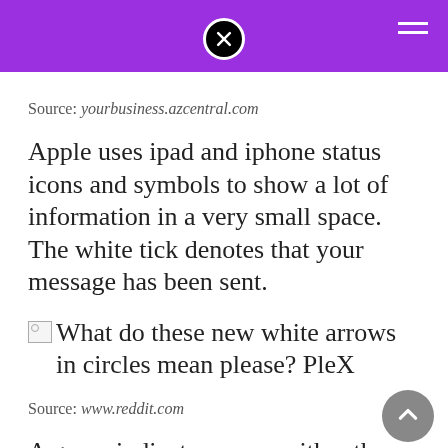Source: yourbusiness.azcentral.com
Apple uses ipad and iphone status icons and symbols to show a lot of information in a very small space. The white tick denotes that your message has been sent.
[Figure (other): Broken image placeholder with caption: What do these new white arrows in circles mean please? PleX]
Source: www.reddit.com
A green indicator means either the camera or the camera and the microphone are being